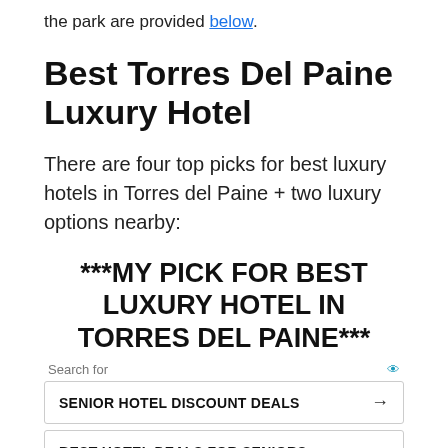the park are provided below.
Best Torres Del Paine Luxury Hotel
There are four top picks for best luxury hotels in Torres del Paine + two luxury options nearby:
***MY PICK FOR BEST LUXURY HOTEL IN TORRES DEL PAINE***
Search for
SENIOR HOTEL DISCOUNT DEALS
BEST HOTEL DEALS FOR SENIORS